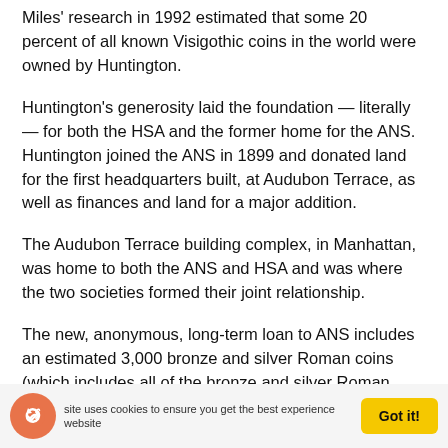Miles' research in 1992 estimated that some 20 percent of all known Visigothic coins in the world were owned by Huntington.
Huntington's generosity laid the foundation — literally — for both the HSA and the former home for the ANS. Huntington joined the ANS in 1899 and donated land for the first headquarters built, at Audubon Terrace, as well as finances and land for a major addition.
The Audubon Terrace building complex, in Manhattan, was home to both the ANS and HSA and was where the two societies formed their joint relationship.
The new, anonymous, long-term loan to ANS includes an estimated 3,000 bronze and silver Roman coins (which includes all of the bronze and silver Roman coins from the collection, but excludes the important Roman gold coins); about 2,000 Celtic Iberian coins; nearly 4,000 Spanish medieval and later coins; and 51 Admiral Vernon
This site uses cookies to ensure you get the best experience on our website